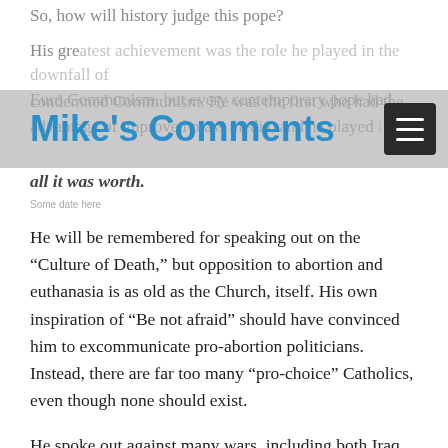So, how will history judge this pope?
His greatest achievement was the role he played in the downfall of Euro Communism, but every contemporary pope had condemned Communism. He was the first who had the advantage of improved mass media, and he played it for all it was worth.
Mike's Comments
He will be remembered for speaking out on the “Culture of Death,” but opposition to abortion and euthanasia is as old as the Church, itself. His own inspiration of “Be not afraid” should have convinced him to excommunicate pro-abortion politicians. Instead, there are far too many “pro-choice” Catholics, even though none should exist.
He spoke out against many wars, including both Iraq conflicts, possibly reflecting his personal life experience that they do no good. After all, to Poles, World War II simply made the world safe for Communism until 1989. It was the Church, then, that saved his country, even if its youth were soon to forget. It was negotiation, not